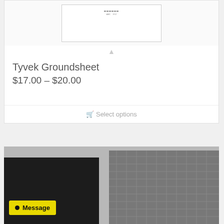[Figure (photo): Product thumbnail image area showing a small diagram or spec sheet inside a white bordered box]
Tyvek Groundsheet
$17.00 – $20.00
Select options
[Figure (photo): Photo of dark fabric/material samples in black and gray on a light gray background]
Message